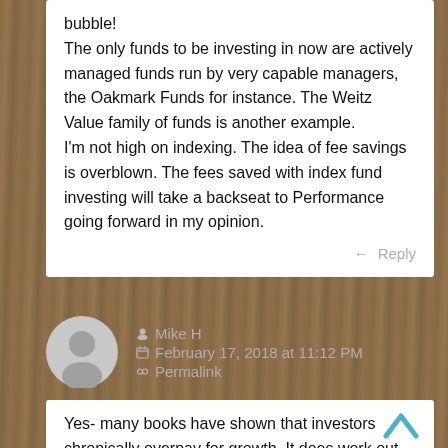bubble!
The only funds to be investing in now are actively managed funds run by very capable managers, the Oakmark Funds for instance. The Weitz Value family of funds is another example.
I'm not high on indexing. The idea of fee savings is overblown. The fees saved with index fund investing will take a backseat to Performance going forward in my opinion.
Reply
Mike H
February 17, 2018 at 11:12 PM
Permalink
Yes- many books have shown that investors chronically overpay for growth. It does work out